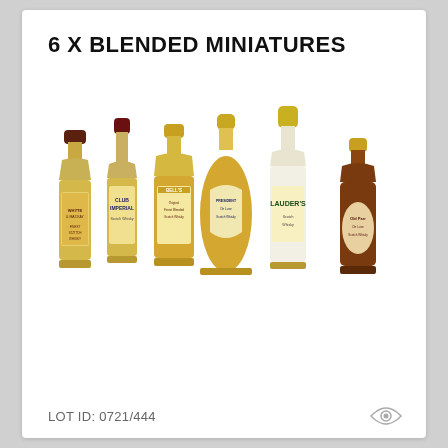6 X BLENDED MINIATURES
[Figure (photo): Six miniature whisky bottles lined up: Whyte & Mackay, Club Imperial Scotch Whisky, Bell's, President De Luxe Scotch Whisky, Lauder's, and Old Parr De Luxe Scotch Whisky. Various bottle shapes with gold, dark red/maroon caps.]
LOT ID: 0721/444